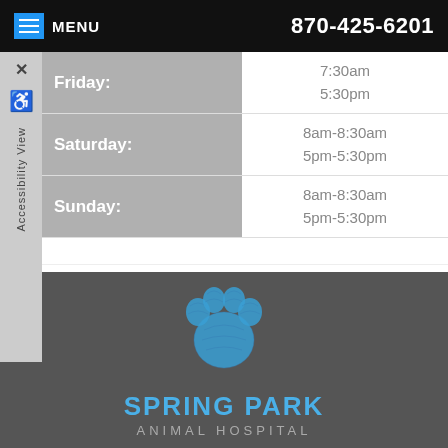MENU  870-425-6201
| Day | Hours |
| --- | --- |
| Friday: | 7:30am
5:30pm |
| Saturday: | 8am-8:30am
5pm-5:30pm |
| Sunday: | 8am-8:30am
5pm-5:30pm |
[Figure (logo): Spring Park Animal Hospital logo with blue paw print]
SPRING PARK
ANIMAL HOSPITAL